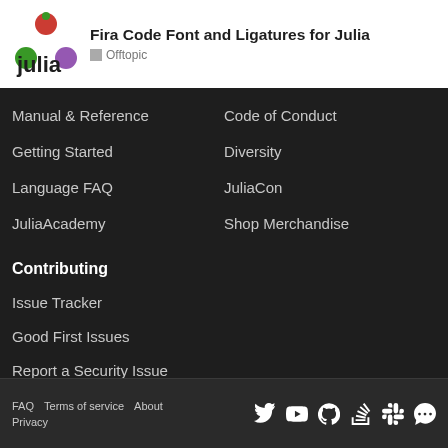Fira Code Font and Ligatures for Julia — Offtopic
Manual & Reference
Code of Conduct
Getting Started
Diversity
Language FAQ
JuliaCon
JuliaAcademy
Shop Merchandise
Contributing
Issue Tracker
Good First Issues
Report a Security Issue
Sponsor on GitHub
FAQ  Terms of service  About  Privacy